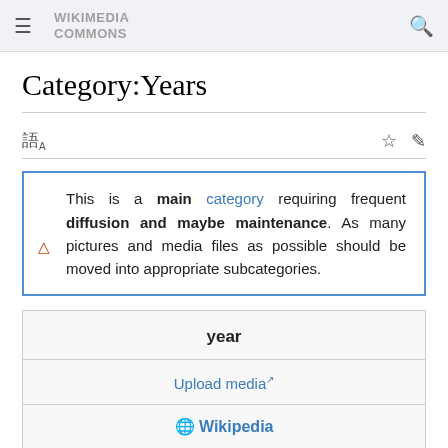Wikimedia Commons
Category:Years
This is a main category requiring frequent diffusion and maybe maintenance. As many pictures and media files as possible should be moved into appropriate subcategories.
year
Upload media
Wikipedia